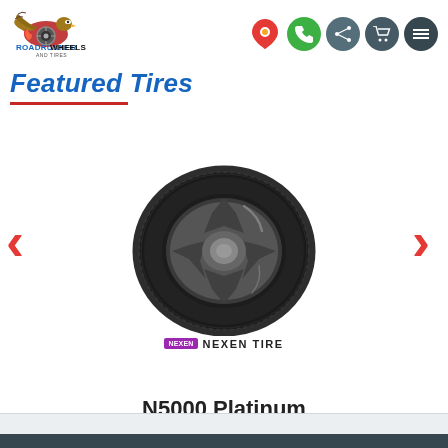[Figure (logo): Roadrunner Wheels and Tires logo with eagle and wheel graphic]
[Figure (infographic): Navigation icons: location pin (red/yellow), phone (green circle), share (grey circle), cart (grey circle), menu (grey circle)]
Featured Tires
[Figure (photo): Nexen N5000 Platinum tire on a dark alloy wheel, shown at an angle. Nexen Tire brand logo below the tire image.]
N5000 Platinum
235/65R17
$153.98